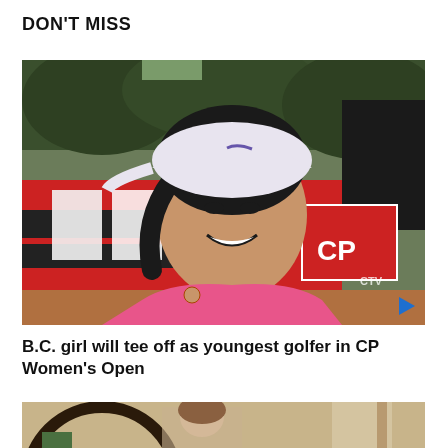DON'T MISS
[Figure (photo): Young Asian girl in pink polo shirt and white Nike cap smiling, with CP (Canadian Pacific) branding signs visible in background, and a CTV watermark. Play button visible in bottom right corner.]
B.C. girl will tee off as youngest golfer in CP Women's Open
[Figure (photo): Partial view of a second article image showing a woman, partially cropped at bottom of page.]